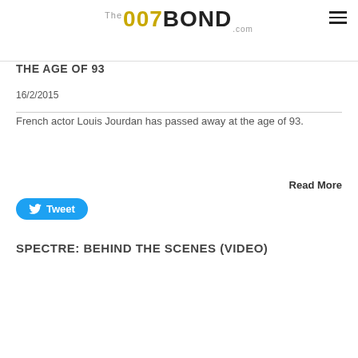The 007BOND.com
THE AGE OF 93
16/2/2015
French actor Louis Jourdan has passed away at the age of 93.
Read More
Tweet
SPECTRE: BEHIND THE SCENES (VIDEO)